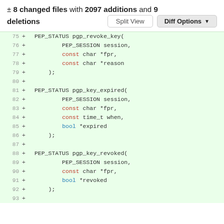± 8 changed files with 2097 additions and 9 deletions
[Figure (screenshot): Split View and Diff Options buttons]
75 + PEP_STATUS pgp_revoke_key(
76 +         PEP_SESSION session,
77 +         const char *fpr,
78 +         const char *reason
79 +     );
80 +
81 + PEP_STATUS pgp_key_expired(
82 +         PEP_SESSION session,
83 +         const char *fpr,
84 +         const time_t when,
85 +         bool *expired
86 +     );
87 +
88 + PEP_STATUS pgp_key_revoked(
89 +         PEP_SESSION session,
90 +         const char *fpr,
91 +         bool *revoked
92 +     );
93 +